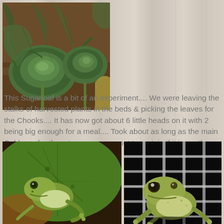[Figure (photo): Photo of sugarloaf cabbage plants growing in a garden bed, showing leafy green heads on brown soil]
This Sugarloaf is a bit of an experiment.... We were leaving the stalks of harvested plants in the beds & picking the leaves for the Chooks.... It has now got about 6 little heads on it with 2 being big enough for a meal.... Took about as long as the main Cabbage for them to come on so not to certain if it is worth doing with every crop...
[Figure (photo): Close-up photo of a green tree frog sitting on a large green leaf]
[Figure (photo): Photo of a green tree frog sitting on a metal grid/cage structure against a dark background]